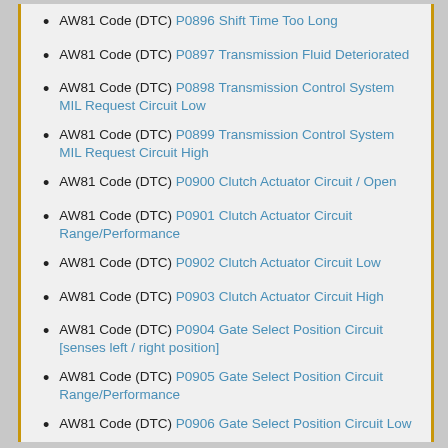AW81 Code (DTC) P0896 Shift Time Too Long
AW81 Code (DTC) P0897 Transmission Fluid Deteriorated
AW81 Code (DTC) P0898 Transmission Control System MIL Request Circuit Low
AW81 Code (DTC) P0899 Transmission Control System MIL Request Circuit High
AW81 Code (DTC) P0900 Clutch Actuator Circuit / Open
AW81 Code (DTC) P0901 Clutch Actuator Circuit Range/Performance
AW81 Code (DTC) P0902 Clutch Actuator Circuit Low
AW81 Code (DTC) P0903 Clutch Actuator Circuit High
AW81 Code (DTC) P0904 Gate Select Position Circuit [senses left / right position]
AW81 Code (DTC) P0905 Gate Select Position Circuit Range/Performance
AW81 Code (DTC) P0906 Gate Select Position Circuit Low